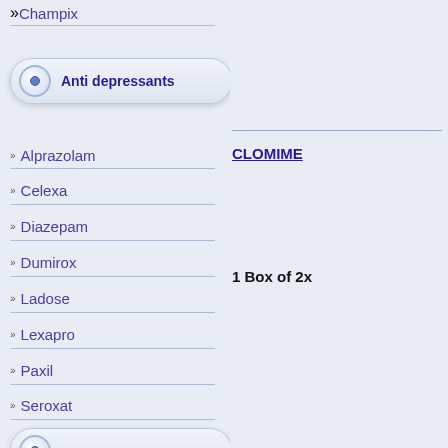→ Champix
Anti depressants
→ Alprazolam
→ Celexa
→ Diazepam
→ Dumirox
→ Ladose
→ Lexapro
→ Paxil
→ Seroxat
CLOMIME...
1 Box of 2x
More details 50mg per Tab
Availability: 0
NOLVAME...
1 Box of 2x